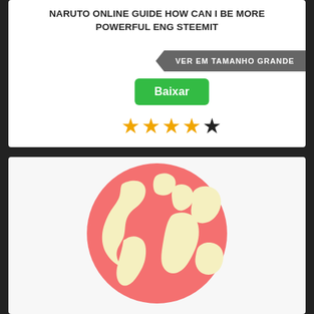NARUTO ONLINE GUIDE HOW CAN I BE MORE POWERFUL ENG STEEMIT
VER EM TAMANHO GRANDE
Baixar
★★★★☆
[Figure (illustration): A pink/salmon-colored globe illustration with light yellow landmasses showing continents of the world]